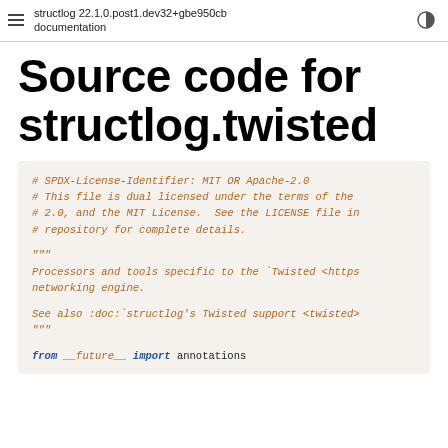structlog 22.1.0.post1.dev32+gbe950cb documentation
Source code for structlog.twisted
# SPDX-License-Identifier: MIT OR Apache-2.0
# This file is dual licensed under the terms of the
# 2.0, and the MIT License.  See the LICENSE file in
# repository for complete details.

"""
Processors and tools specific to the `Twisted <https
networking engine.

See also :doc:`structlog's Twisted support <twisted>
"""

from __future__ import annotations